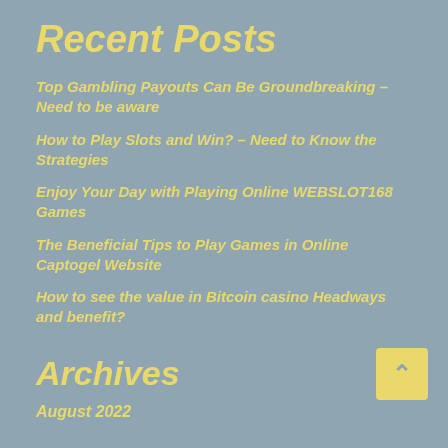Recent Posts
Top Gambling Payouts Can Be Groundbreaking – Need to be aware
How to Play Slots and Win? – Need to Know the Strategies
Enjoy Your Day with Playing Online WEBSLOT168 Games
The Beneficial Tips to Play Games in Online Captogel Website
How to see the value in Bitcoin casino Headways and benefit?
Archives
August 2022